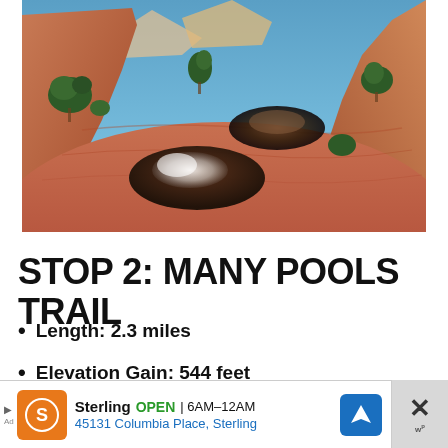[Figure (photo): Landscape photo of Many Pools Trail at Zion National Park showing red sandstone rock formations with natural pools reflecting clouds and sky, surrounded by juniper shrubs, with canyon walls and blue sky in background]
STOP 2: MANY POOLS TRAIL
Length: 2.3 miles
Elevation Gain: 544 feet
[Figure (other): Advertisement banner for Sterling restaurant showing orange logo, OPEN label, hours 6AM-12AM, address 45131 Columbia Place Sterling, with navigation icon and close button]